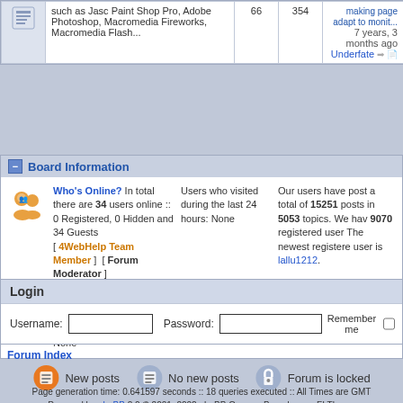|  | Description | Posts | Topics | Last Post |
| --- | --- | --- | --- | --- |
|  | such as Jasc Paint Shop Pro, Adobe Photoshop, Macromedia Fireworks, Macromedia Flash... | 66 | 354 | 7 years, 3 months ago
Underfate |
Board Information
Who's Online? In total there are 34 users online :: 0 Registered, 0 Hidden and 34 Guests [ 4WebHelp Team Member ] [ Forum Moderator ] Most users ever online was 2283 on Thu Dec 30, 2004 5:51 pm Registered Users Online: None
Users who visited during the last 24 hours: None
Our users have posted a total of 15251 posts in 5053 topics. We have 9070 registered users. The newest registered user is lallu1212.
Login
Username: Password: Remember me
Forum Index
[Figure (infographic): Forum icon legend: orange New posts icon, blue No new posts icon, locked Forum is locked icon]
Page generation time: 0.641597 seconds :: 18 queries executed :: All Times are GMT
Powered by phpBB 2.0 © 2001, 2002 phpBB Group :: Based on an FI Theme